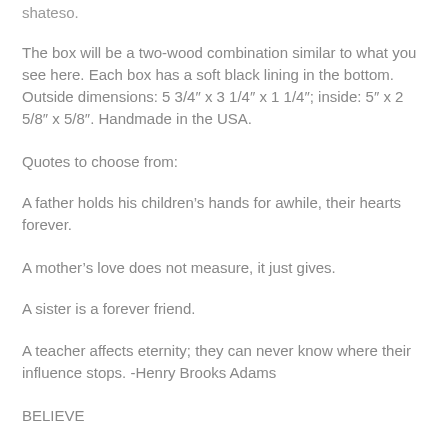shateso.
The box will be a two-wood combination similar to what you see here. Each box has a soft black lining in the bottom. Outside dimensions: 5 3/4″ x 3 1/4″ x 1 1/4″; inside: 5″ x 2 5/8″ x 5/8″. Handmade in the USA.
Quotes to choose from:
A father holds his children's hands for awhile, their hearts forever.
A mother's love does not measure, it just gives.
A sister is a forever friend.
A teacher affects eternity; they can never know where their influence stops.  -Henry Brooks Adams
BELIEVE
Do not go where the path may lead.  Go instead where